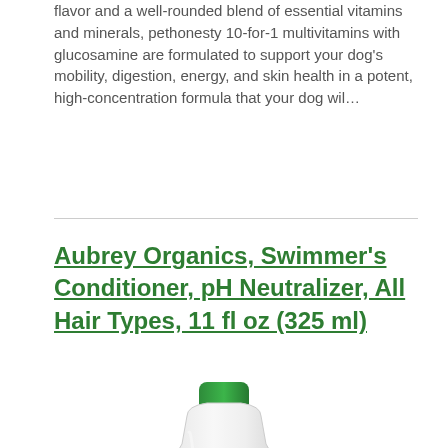flavor and a well-rounded blend of essential vitamins and minerals, pethonesty 10-for-1 multivitamins with glucosamine are formulated to support your dog's mobility, digestion, energy, and skin health in a potent, high-concentration formula that your dog wil…
Aubrey Organics, Swimmer's Conditioner, pH Neutralizer, All Hair Types, 11 fl oz (325 ml)
[Figure (photo): Product photo of Aubrey Organics Swimmer's Conditioner bottle — white plastic bottle with green cap, pink floral label reading 'Swimmer's CONDITIONER']